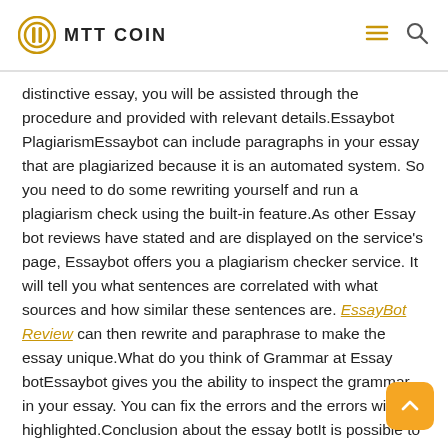MTT COIN
distinctive essay, you will be assisted through the procedure and provided with relevant details.Essaybot PlagiarismEssaybot can include paragraphs in your essay that are plagiarized because it is an automated system. So you need to do some rewriting yourself and run a plagiarism check using the built-in feature.As other Essay bot reviews have stated and are displayed on the service's page, Essaybot offers you a plagiarism checker service. It will tell you what sentences are correlated with what sources and how similar these sentences are. EssayBot Review can then rewrite and paraphrase to make the essay unique.What do you think of Grammar at Essay botEssaybot gives you the ability to inspect the grammar in your essay. You can fix the errors and the errors will be highlighted.Conclusion about the essay botIt is possible to get assistance in writing your essay through a variety of essay writing services if you are having trouble writing it. Although it is reliable, not all Essaybot reviews will prove that they can deliver outstanding outcomes. The Essay bot review was